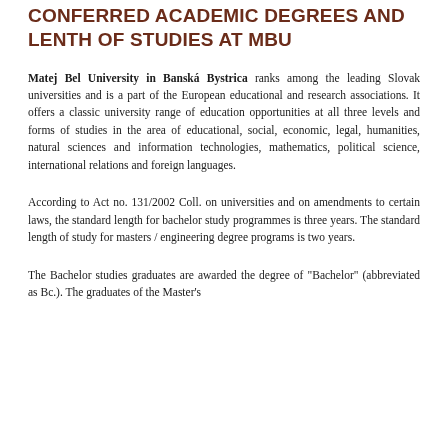CONFERRED ACADEMIC DEGREES AND LENTH OF STUDIES AT MBU
Matej Bel University in Banská Bystrica ranks among the leading Slovak universities and is a part of the European educational and research associations. It offers a classic university range of education opportunities at all three levels and forms of studies in the area of educational, social, economic, legal, humanities, natural sciences and information technologies, mathematics, political science, international relations and foreign languages.
According to Act no. 131/2002 Coll. on universities and on amendments to certain laws, the standard length for bachelor study programmes is three years. The standard length of study for masters / engineering degree programs is two years.
The Bachelor studies graduates are awarded the degree of "Bachelor" (abbreviated as Bc.). The graduates of the Master's